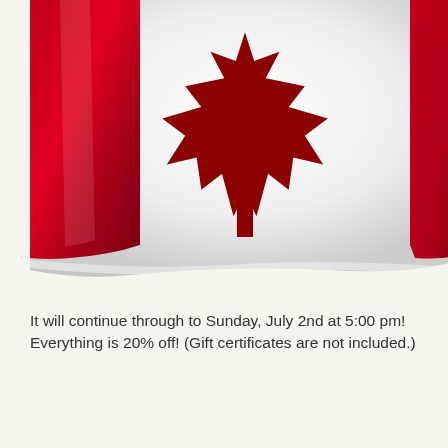[Figure (illustration): A waving Canadian flag with red and white colors and a red maple leaf in the center. The left red band and the white center with the maple leaf are visible, cropped at the top and right edges.]
It will continue through to Sunday, July 2nd at 5:00 pm! Everything is 20% off! (Gift certificates are not included.)